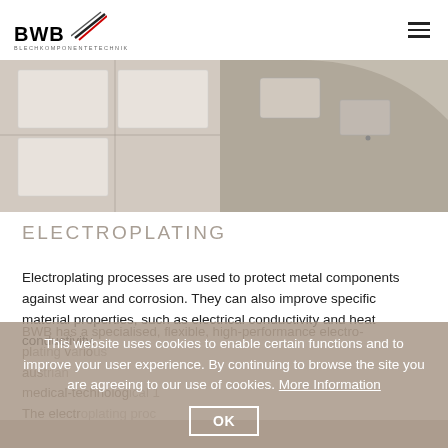BWB BLECHKOMPONENTETECHNIK
[Figure (photo): Close-up photo of white metal components/panels with recessed rectangular shapes and rounded edges, in a light grey/beige industrial setting.]
ELECTROPLATING
Electroplating processes are used to protect metal components against wear and corrosion. They can also improve specific material properties, such as electrical conductivity and heat conductivity.
This website uses cookies to enable certain functions and to improve your user experience. By continuing to browse the site you are agreeing to our use of cookies. More Information   OK